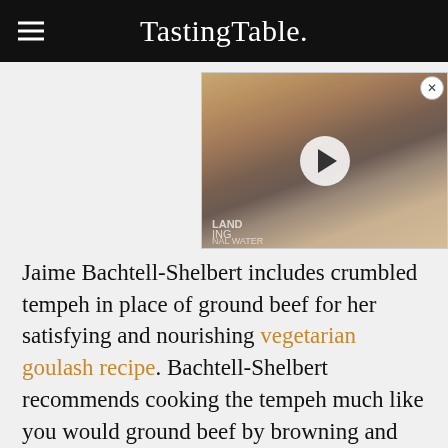TastingTable.
[Figure (photo): Video thumbnail of a woman with dark curly hair smiling, with a play button overlay and close button. Partial text 'LAND' and 'ING' and 'NAL WATER' visible in background.]
Jaime Bachtell-Shelbert includes crumbled tempeh in place of ground beef for her satisfying and nourishing vegetarian goulash recipe. Bachtell-Shelbert recommends cooking the tempeh much like you would ground beef by browning and sautéing it along with onions and peppers at the beginning of the dish. You can also use it